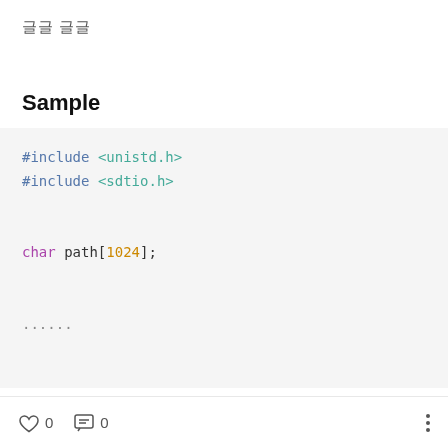글글 글글
Sample
#include <unistd.h>
#include <sdtio.h>

char path[1024];


......


if(getcwd(path, 1024) == NULL) {
    fprintf(stderr, "current working directory get
    return -1;
0  0  ...